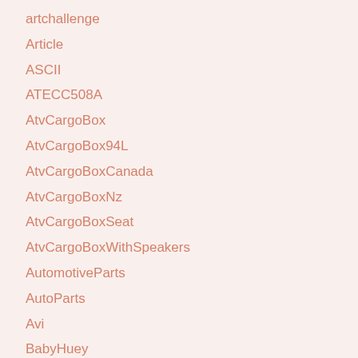artchallenge
Article
ASCII
ATECC508A
AtvCargoBox
AtvCargoBox94L
AtvCargoBoxCanada
AtvCargoBoxNz
AtvCargoBoxSeat
AtvCargoBoxWithSpeakers
AutomotiveParts
AutoParts
Avi
BabyHuey
BackcountryBackpack